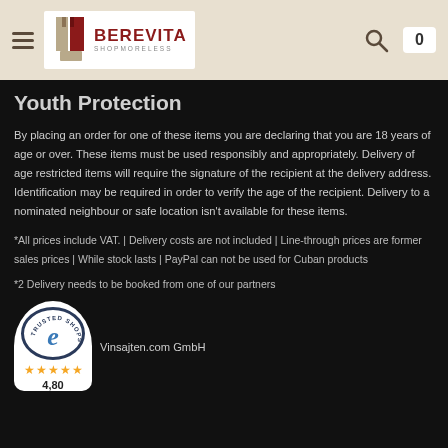BEREVITA SHOPMORELESS
Youth Protection
By placing an order for one of these items you are declaring that you are 18 years of age or over. These items must be used responsibly and appropriately. Delivery of age restricted items will require the signature of the recipient at the delivery address. Identification may be required in order to verify the age of the recipient. Delivery to a nominated neighbour or safe location isn't available for these items.
*All prices include VAT. | Delivery costs are not included | Line-through prices are former sales prices | While stock lasts | PayPal can not be used for Cuban products
*2 Delivery needs to be booked from one of our partners
Vinsajten.com GmbH
[Figure (logo): Trusted Shops guarantee badge with 'e' logo, 5 stars, and rating 4,80]